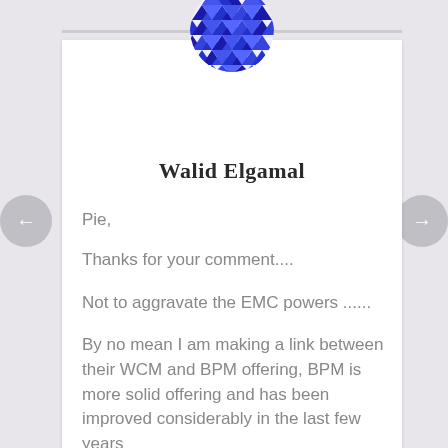[Figure (logo): Circular geometric logo made of blue triangular mosaic pattern]
Walid Elgamal
Pie,
Thanks for your comment....
Not to aggravate the EMC powers ......
By no mean I am making a link between their WCM and BPM offering, BPM is more solid offering and has been improved considerably in the last few years
In 2008 they were in the leaders side, I was